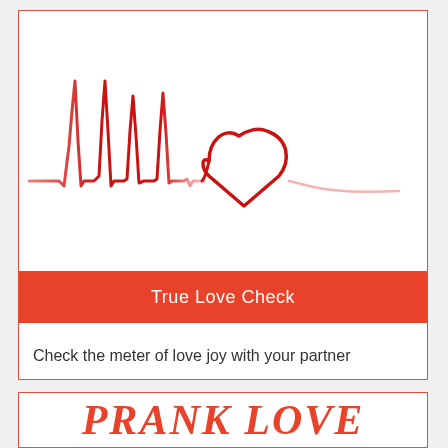[Figure (illustration): Heartbeat/ECG line that transitions into a red heart shape illustration, drawn in red on white background]
True Love Check
Check the meter of love joy with your partner
[Figure (illustration): Decorative red italic script text beginning with 'PRANK LOVE' or similar, partially visible at bottom]